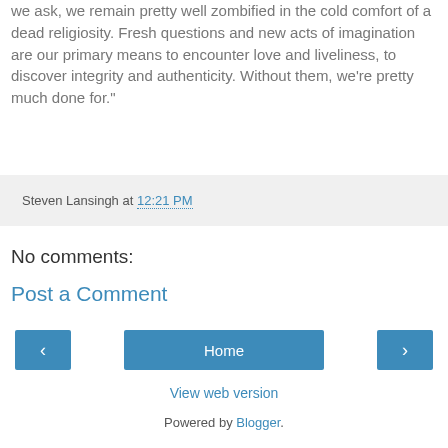we ask, we remain pretty well zombified in the cold comfort of a dead religiosity. Fresh questions and new acts of imagination are our primary means to encounter love and liveliness, to discover integrity and authenticity. Without them, we're pretty much done for."
Steven Lansingh at 12:21 PM
No comments:
Post a Comment
‹
Home
›
View web version
Powered by Blogger.